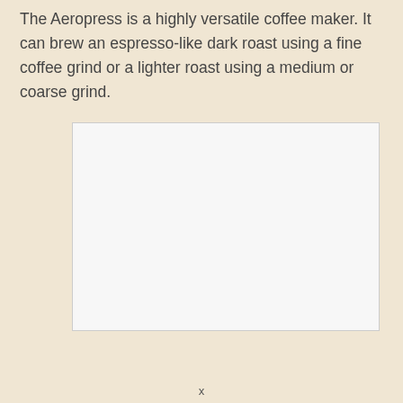The Aeropress is a highly versatile coffee maker. It can brew an espresso-like dark roast using a fine coffee grind or a lighter roast using a medium or coarse grind.
[Figure (other): A white rectangular image placeholder box with a light gray background and border.]
x